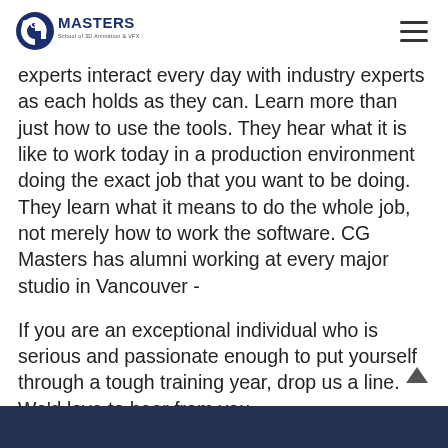CG Masters School of 3D Animation & VFX
experts interact every day with industry experts as each holds as they can. Learn more than just how to use the tools. They hear what it is like to work today in a production environment doing the exact job that you want to be doing. They learn what it means to do the whole job, not merely how to work the software. CG Masters has alumni working at every major studio in Vancouver -
If you are an exceptional individual who is serious and passionate enough to put yourself through a tough training year, drop us a line. We'd love to hear from you.